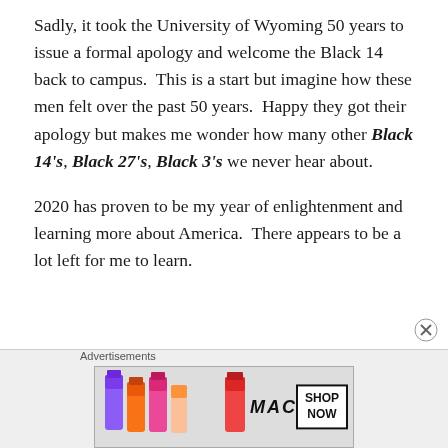Sadly, it took the University of Wyoming 50 years to issue a formal apology and welcome the Black 14 back to campus. This is a start but imagine how these men felt over the past 50 years. Happy they got their apology but makes me wonder how many other Black 14's, Black 27's, Black 3's we never hear about.
2020 has proven to be my year of enlightenment and learning more about America. There appears to be a lot left for me to learn.
[Figure (other): Advertisement banner for MAC cosmetics showing lipsticks in purple, pink, and red colors with MAC logo text and a 'SHOP NOW' button.]